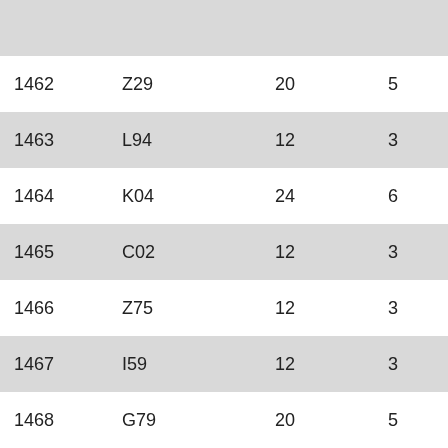|  |  |  |  |  |
| --- | --- | --- | --- | --- |
| 1462 | Z29 | 20 | 5 | 4.00 |
| 1463 | L94 | 12 | 3 | 4.00 |
| 1464 | K04 | 24 | 6 | 4.00 |
| 1465 | C02 | 12 | 3 | 4.00 |
| 1466 | Z75 | 12 | 3 | 4.00 |
| 1467 | I59 | 12 | 3 | 4.00 |
| 1468 | G79 | 20 | 5 | 4.00 |
| 1469 | D97 | 28 | 7 | 4.00 |